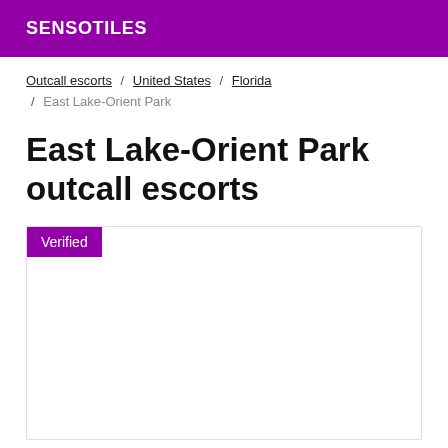SENSOTILES
Outcall escorts / United States / Florida / East Lake-Orient Park
East Lake-Orient Park outcall escorts
[Figure (other): A listing card with a 'Verified' badge in purple at the top left, otherwise blank white content area with a light border.]